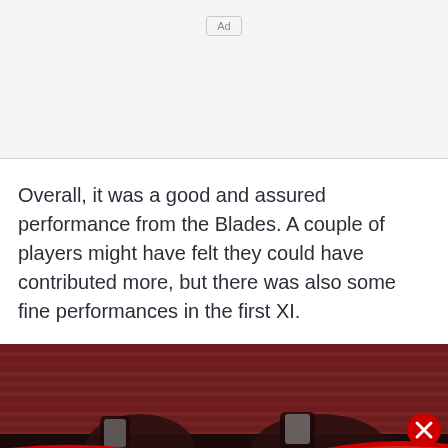[Figure (other): Ad placeholder area with 'Ad' label button]
Overall, it was a good and assured performance from the Blades. A couple of players might have felt they could have contributed more, but there was also some fine performances in the first XI.
[Figure (photo): Football stadium photo with players and red seating in background, overlaid with a Topgolf advertisement banner showing 'Perfect activity for everyone Topgolf' with play button and map icon]
Perfect activity for everyone Topgolf